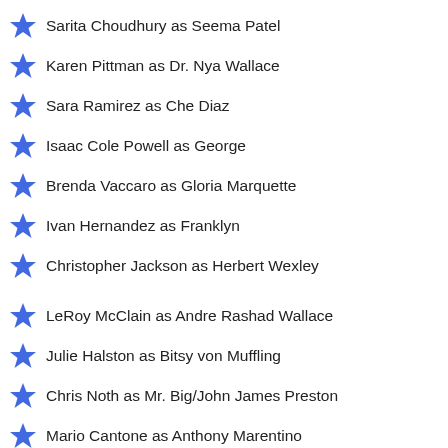Sarita Choudhury as Seema Patel
Karen Pittman as Dr. Nya Wallace
Sara Ramirez as Che Diaz
Isaac Cole Powell as George
Brenda Vaccaro as Gloria Marquette
Ivan Hernandez as Franklyn
Christopher Jackson as Herbert Wexley
LeRoy McClain as Andre Rashad Wallace
Julie Halston as Bitsy von Muffling
Chris Noth as Mr. Big/John James Preston
Mario Cantone as Anthony Marentino
Willie Garson as Stanford Blatch
David Eigenberg as Steve Brady